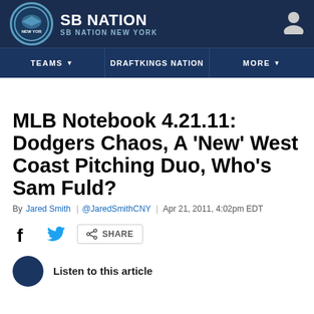SB NATION / SB NATION NEW YORK
MLB Notebook 4.21.11: Dodgers Chaos, A 'New' West Coast Pitching Duo, Who's Sam Fuld?
By Jared Smith | @JaredSmithCNY | Apr 21, 2011, 4:02pm EDT
SHARE
Listen to this article